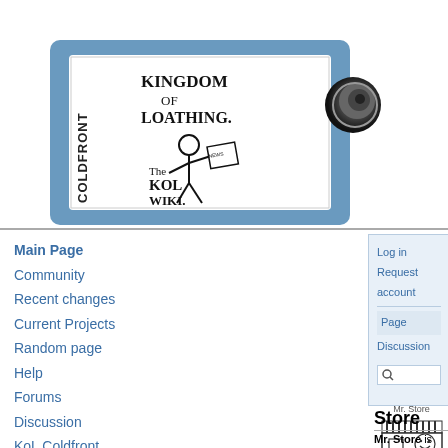[Figure (logo): Kingdom of Loathing / Coldfront KoL Wiki logo — hand-drawn style with stick figure holding a newspaper, text reads KINGDOM OF LOATHING and The KoL WIKI, enclosed in a blue-grey rounded rectangle]
[Figure (logo): Spiral/vortex icon in dark grey, top right of header]
Log in
Request account
Page
Discussion
Main Page
Community
Recent changes
Current Projects
Random page
Help
Forums
Discussion
KoL Coldfront
KoL IRC
KoL Coldfront
KoL Marketplace 2.0
Mr. Store
[Figure (illustration): Hand-drawn illustration of Mr. Store: a small shop building with striped awning, a door, and a smiley face window]
Mr. Store
Mr. Store is